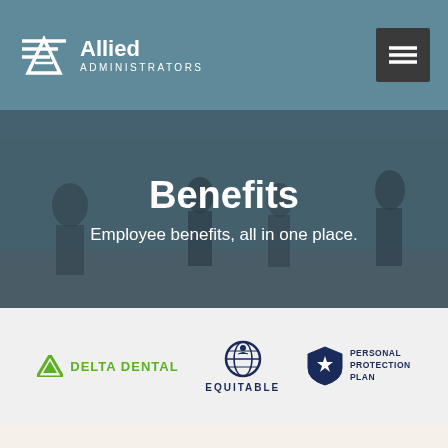[Figure (logo): Allied Administrators logo with stylized A icon and text]
Benefits
Employee benefits, all in one place.
[Figure (logo): Delta Dental logo in green]
[Figure (logo): Equitable logo in dark blue with globe icon]
[Figure (logo): Personal Protection Plan shield logo in dark blue]